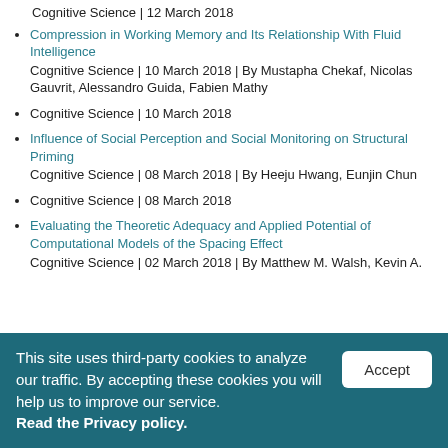Cognitive Science | 12 March 2018
Compression in Working Memory and Its Relationship With Fluid Intelligence
Cognitive Science | 10 March 2018 | By Mustapha Chekaf, Nicolas Gauvrit, Alessandro Guida, Fabien Mathy
Cognitive Science | 10 March 2018
Influence of Social Perception and Social Monitoring on Structural Priming
Cognitive Science | 08 March 2018 | By Heeju Hwang, Eunjin Chun
Cognitive Science | 08 March 2018
Evaluating the Theoretic Adequacy and Applied Potential of Computational Models of the Spacing Effect
Cognitive Science | 02 March 2018 | By Matthew M. Walsh, Kevin A.
This site uses third-party cookies to analyze our traffic. By accepting these cookies you will help us to improve our service. Read the Privacy policy.